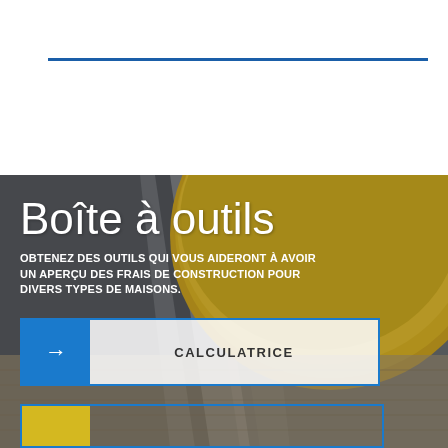[Figure (photo): Construction site photo background showing a yellow hard hat on a wooden surface with grey materials, overlaid with text and buttons]
Boîte à outils
OBTENEZ DES OUTILS QUI VOUS AIDERONT À AVOIR UN APERÇU DES FRAIS DE CONSTRUCTION POUR DIVERS TYPES DE MAISONS.
→ CALCULATRICE